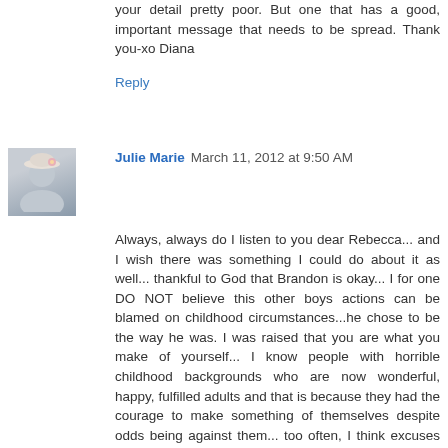your detail pretty poor. But one that has a good, important message that needs to be spread. Thank you-xo Diana
Reply
Julie Marie  March 11, 2012 at 9:50 AM
Always, always do I listen to you dear Rebecca... and I wish there was something I could do about it as well... thankful to God that Brandon is okay... I for one DO NOT believe this other boys actions can be blamed on childhood circumstances...he chose to be the way he was. I was raised that you are what you make of yourself... I know people with horrible childhood backgrounds who are now wonderful, happy, fulfilled adults and that is because they had the courage to make something of themselves despite odds being against them... too often, I think excuses (and poor ones at that) are made for childrens behavior and they are suddenly "the victims" rather than the real victims, like Brandon was... and I think our education system these days stinks!... just being totally honest here... what has happened to right and wrong in our country?... okay, I will get off my soapbox now or I will take over your post